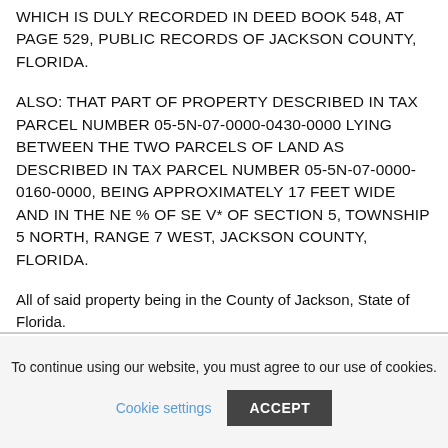WHICH IS DULY RECORDED IN DEED BOOK 548, AT PAGE 529, PUBLIC RECORDS OF JACKSON COUNTY, FLORIDA.
ALSO: THAT PART OF PROPERTY DESCRIBED IN TAX PARCEL NUMBER 05-5N-07-0000-0430-0000 LYING BETWEEN THE TWO PARCELS OF LAND AS DESCRIBED IN TAX PARCEL NUMBER 05-5N-07-0000-0160-0000, BEING APPROXIMATELY 17 FEET WIDE AND IN THE NE % OF SE V* OF SECTION 5, TOWNSHIP 5 NORTH, RANGE 7 WEST, JACKSON COUNTY, FLORIDA.
All of said property being in the County of Jackson, State of Florida.
To continue using our website, you must agree to our use of cookies. Cookie settings ACCEPT